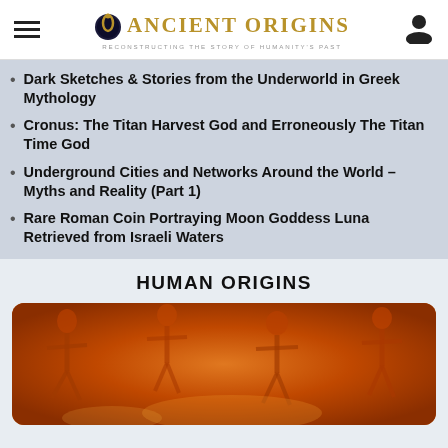Ancient Origins — Reconstructing the story of humanity's past
Dark Sketches & Stories from the Underworld in Greek Mythology
Cronus: The Titan Harvest God and Erroneously The Titan Time God
Underground Cities and Networks Around the World – Myths and Reality (Part 1)
Rare Roman Coin Portraying Moon Goddess Luna Retrieved from Israeli Waters
HUMAN ORIGINS
[Figure (photo): Orange-tinted archaeological image showing multiple human skeletons embedded in earth/clay, viewed from above.]